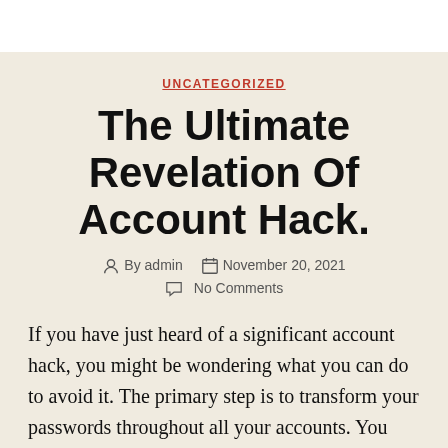UNCATEGORIZED
The Ultimate Revelation Of Account Hack.
By admin  November 20, 2021  No Comments
If you have just heard of a significant account hack, you might be wondering what you can do to avoid it. The primary step is to transform your passwords throughout all your accounts. You may believe that you do not need to bother with this, however simple passwords are